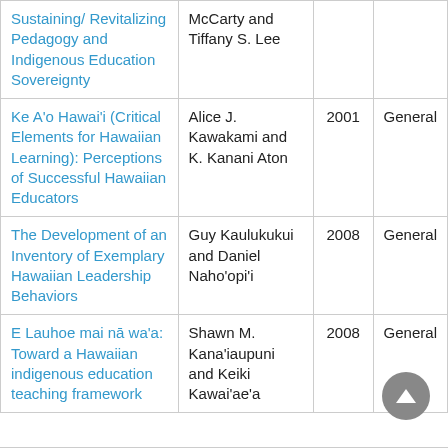| Title | Author | Year | Type |
| --- | --- | --- | --- |
| Sustaining/ Revitalizing Pedagogy and Indigenous Education Sovereignty | McCarty and Tiffany S. Lee |  |  |
| Ke A'o Hawai'i (Critical Elements for Hawaiian Learning): Perceptions of Successful Hawaiian Educators | Alice J. Kawakami and K. Kanani Aton | 2001 | General |
| The Development of an Inventory of Exemplary Hawaiian Leadership Behaviors | Guy Kaulukukui and Daniel Naho'opi'i | 2008 | General |
| E Lauhoe mai nā wa'a: Toward a Hawaiian indigenous education teaching framework | Shawn M. Kana'iaupuni and Keiki Kawai'ae'a | 2008 | General |